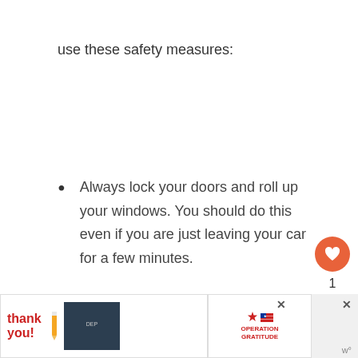use these safety measures:
Always lock your doors and roll up your windows. You should do this even if you are just leaving your car for a few minutes.
Park your vehicle in a high-traffic
[Figure (photo): Advertisement banner at bottom of page showing Operation Gratitude ad with people in dark uniforms, a thank you message with decorative text and pencil, and an Operation Gratitude logo with American flag star motif]